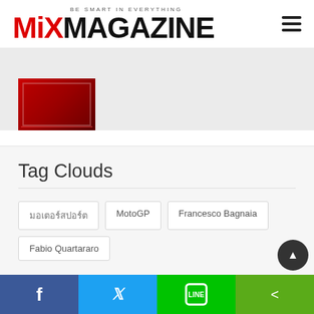MiX MAGAZINE — BE SMART IN EVERYTHING
[Figure (photo): Partial view of a magazine cover or promotional image with red and dark tones]
Tag Clouds
มอเตอร์สปอร์ต
MotoGP
Francesco Bagnaia
Fabio Quartararo
Facebook | Twitter | LINE | Share